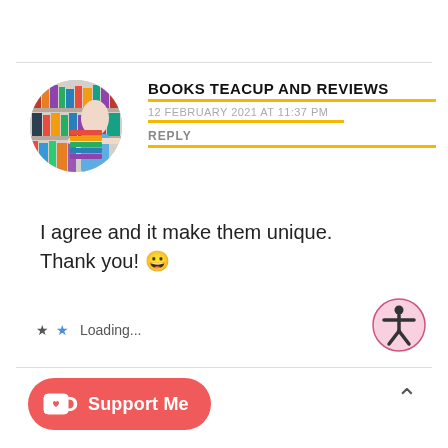[Figure (photo): Circular avatar photo of a person holding a stack of colorful books in front of bookshelves]
BOOKS TEACUP AND REVIEWS
12 FEBRUARY 2021 AT 11:37 PM
REPLY
I agree and it make them unique. Thank you! 😀
Loading...
[Figure (logo): Accessibility icon — person symbol in pink circle]
[Figure (logo): Support Me button with Ko-fi cup icon]